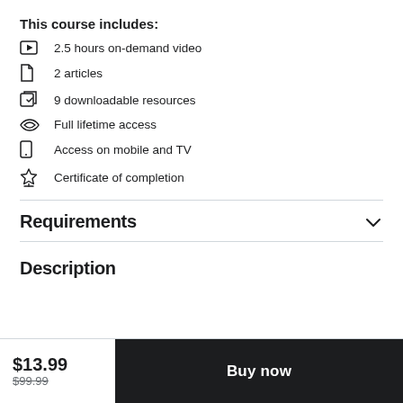This course includes:
2.5 hours on-demand video
2 articles
9 downloadable resources
Full lifetime access
Access on mobile and TV
Certificate of completion
Requirements
Description
$13.99
$99.99
Buy now